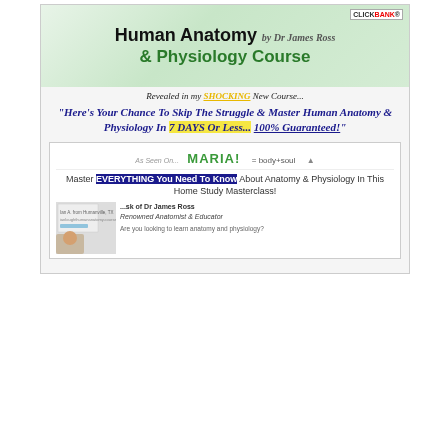[Figure (screenshot): Screenshot of Human Anatomy & Physiology Course website by Dr. James Ross, showing course banner, headline about mastering anatomy in 7 days, as seen on logos, and masterclass description with testimonial.]
Create ClickBank hoplink for : ClickBank vendor: HUMANATOMY - The #1 Human Anatomy and